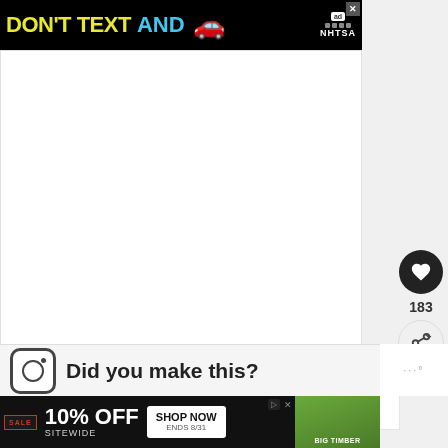[Figure (screenshot): NHTSA 'Don't Text AND Drive' advertisement banner with yellow text 'DON'T TEXT', cyan text 'AND', red car emoji on black background with NHTSA logo and ad indicator]
[Figure (screenshot): White main content area (blank/loading state)]
[Figure (screenshot): Heart button (183 likes) and share button in dark circular UI elements on right sidebar]
183
[Figure (screenshot): WHAT'S NEXT panel showing 'Easy to Make Mermaid Bat...' with thumbnail]
Did you make this?
[Figure (screenshot): 10% OFF SITEWIDE sale advertisement banner with SHOP NOW button ENDS 8/31 and Big Timber gazebo image]